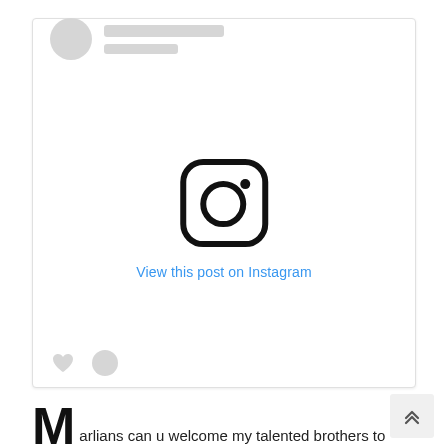[Figure (screenshot): Instagram embed placeholder card with skeleton profile header (circle avatar, two gray bars), a centered Instagram camera logo icon, a 'View this post on Instagram' blue link below the icon, and a bottom row with a heart icon and a circle icon.]
[Figure (other): Back-to-top button in the bottom-right corner with a double chevron/up arrow icon.]
Marlians can u welcome my talented brothers to